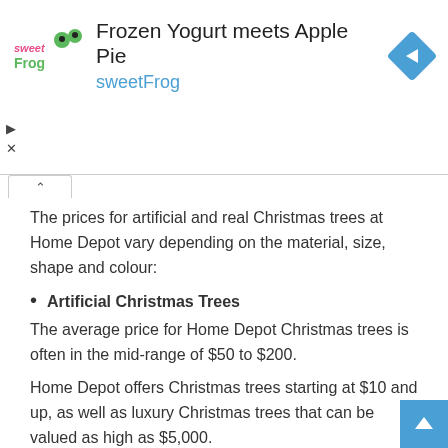[Figure (other): sweetFrog advertisement banner: logo on left, title 'Frozen Yogurt meets Apple Pie', subtitle 'sweetFrog' in blue, navigation icon on right]
The prices for artificial and real Christmas trees at Home Depot vary depending on the material, size, shape and colour:
Artificial Christmas Trees
The average price for Home Depot Christmas trees is often in the mid-range of $50 to $200.
Home Depot offers Christmas trees starting at $10 and up, as well as luxury Christmas trees that can be valued as high as $5,000.